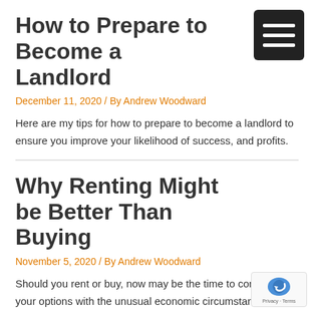How to Prepare to Become a Landlord
December 11, 2020 / By Andrew Woodward
Here are my tips for how to prepare to become a landlord to ensure you improve your likelihood of success, and profits.
Why Renting Might be Better Than Buying
November 5, 2020 / By Andrew Woodward
Should you rent or buy, now may be the time to consider your options with the unusual economic circumstances. Here are my tips and considerations to factor in your decision making.